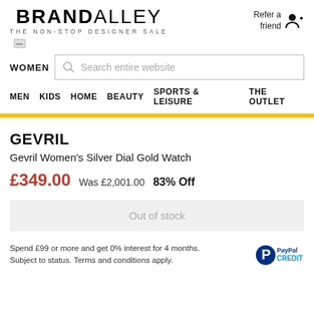BRANDALLEY THE NON-STOP DESIGNER SALE
Refer a friend
WOMEN  Search entire website
MEN  KIDS  HOME  BEAUTY  SPORTS & LEISURE  THE OUTLET
GEVRIL
Gevril Women's Silver Dial Gold Watch
£349.00  Was £2,001.00  83% Off
Out of stock
Spend £99 or more and get 0% interest for 4 months. Subject to status. Terms and conditions apply.